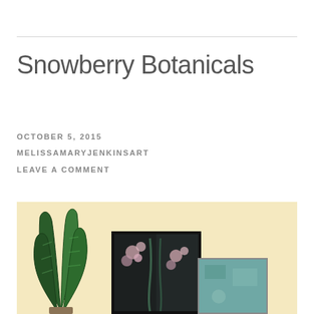Snowberry Botanicals
OCTOBER 5, 2015
MELISSAMARYJENKINSART
LEAVE A COMMENT
[Figure (photo): Photo of botanical art pieces leaning against a pale yellow wall, with a tall snake plant on the left and a dark-framed painting featuring floral motifs in center-right, with a smaller lighter artwork]